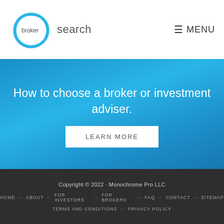[Figure (logo): Broker Search logo: a hand-drawn blue circle with the text 'broker search' inside and next to it]
≡ MENU
How to choose a broker or investment adviser.
LEARN MORE
Copyright © 2022 · Monochrome Pro LLC
HOME — ABOUT — FOR INVESTORS — FOR BROKERS — FAQ — CONTACT — SITEMAP
TERMS AND CONDITIONS — PRIVACY POLICY